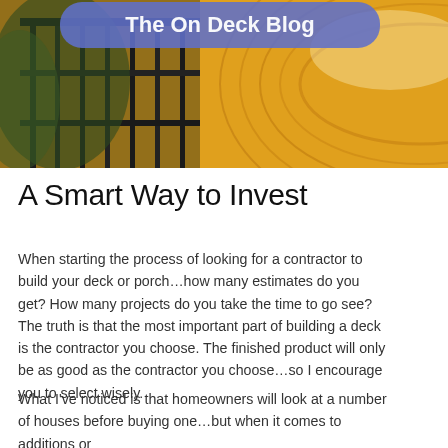[Figure (photo): Header image of a wooden deck with black metal railing on the left side and a warm golden-lit curved deck surface on the right. A blue rounded banner with white text 'The On Deck Blog' overlays the top portion of the image.]
A Smart Way to Invest
When starting the process of looking for a contractor to build your deck or porch…how many estimates do you get? How many projects do you take the time to go see? The truth is that the most important part of building a deck is the contractor you choose. The finished product will only be as good as the contractor you choose…so I encourage you to select wisely.
What I've noticed is that homeowners will look at a number of houses before buying one…but when it comes to additions or